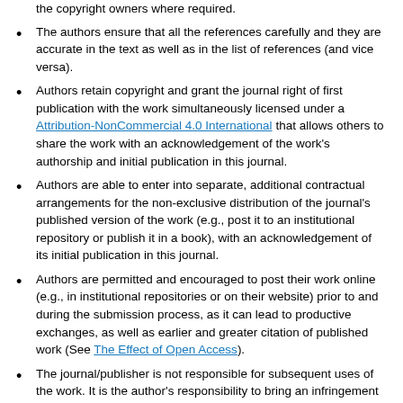the copyright owners where required.
The authors ensure that all the references carefully and they are accurate in the text as well as in the list of references (and vice versa).
Authors retain copyright and grant the journal right of first publication with the work simultaneously licensed under a Attribution-NonCommercial 4.0 International that allows others to share the work with an acknowledgement of the work's authorship and initial publication in this journal.
Authors are able to enter into separate, additional contractual arrangements for the non-exclusive distribution of the journal's published version of the work (e.g., post it to an institutional repository or publish it in a book), with an acknowledgement of its initial publication in this journal.
Authors are permitted and encouraged to post their work online (e.g., in institutional repositories or on their website) prior to and during the submission process, as it can lead to productive exchanges, as well as earlier and greater citation of published work (See The Effect of Open Access).
The journal/publisher is not responsible for subsequent uses of the work. It is the author's responsibility to bring an infringement action if so desired by the author.